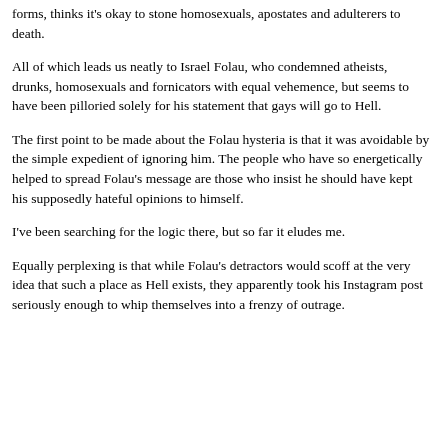forms, thinks it's okay to stone homosexuals, apostates and adulterers to death.
All of which leads us neatly to Israel Folau, who condemned atheists, drunks, homosexuals and fornicators with equal vehemence, but seems to have been pilloried solely for his statement that gays will go to Hell.
The first point to be made about the Folau hysteria is that it was avoidable by the simple expedient of ignoring him. The people who have so energetically helped to spread Folau's message are those who insist he should have kept his supposedly hateful opinions to himself.
I've been searching for the logic there, but so far it eludes me.
Equally perplexing is that while Folau's detractors would scoff at the very idea that such a place as Hell exists, they apparently took his Instagram post seriously enough to whip themselves into a frenzy of outrage.